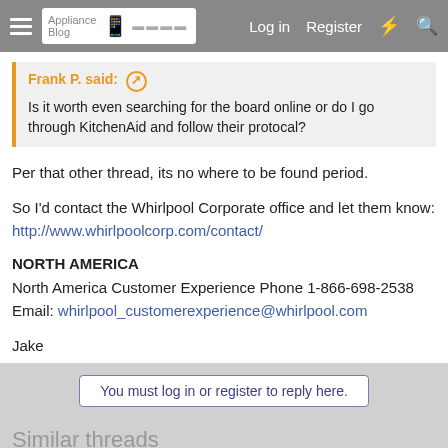Log in  Register
Frank P. said: ↗
Is it worth even searching for the board online or do I go through KitchenAid and follow their protocal?
Per that other thread, its no where to be found period.

So I'd contact the Whirlpool Corporate office and let them know:
http://www.whirlpoolcorp.com/contact/

NORTH AMERICA
North America Customer Experience Phone 1-866-698-2538
Email: whirlpool_customerexperience@whirlpool.com

Jake
You must log in or register to reply here.
Similar threads